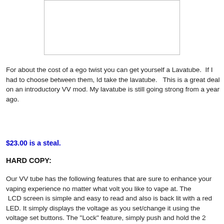[Figure (other): Product image placeholder — white rectangle with border]
For about the cost of a ego twist you can get yourself a Lavatube.  If I had to choose between them, Id take the lavatube.   This is a great deal on an introductory VV mod. My lavatube is still going strong from a year ago.
$23.00 is a steal.
HARD COPY:
Our VV tube has the following features that are sure to enhance your vaping experience no matter what volt you like to vape at. The LCD screen is simple and easy to read and also is back lit with a red LED. It simply displays the voltage as you set/change it using the voltage set buttons. The "Lock" feature, simply push and hold the 2